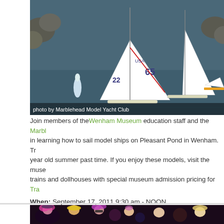[Figure (photo): Sailing model ships on water, with white sails numbered 65 and 22, rocky shore in background. Credit: photo by Marblehead Model Yacht Club]
Join members of the Wenham Museum education staff and the Marbl... in learning how to sail model ships on Pleasant Pond in Wenham. Tr... year old summer past time. If you enjoy these models, visit the muse... trains and dollhouses with special museum admission pricing for Tra...
When: September 17, 2011 9:30 am - NOON
Location: Pleasant Pond Beach
Wenham | Demonstration | Sailing | Trails & Sails 2011 | RC |
[Figure (photo): Group of costumed performers with colorful pink and purple hair, fancy dressed characters on a dark background]